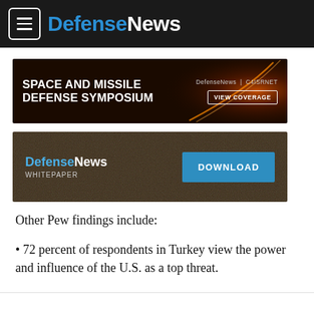DefenseNews
[Figure (screenshot): Space and Missile Defense Symposium advertisement banner with DefenseNews | C4ISRNET branding and VIEW COVERAGE button]
[Figure (screenshot): DefenseNews Whitepaper advertisement banner with DOWNLOAD button]
Other Pew findings include:
72 percent of respondents in Turkey view the power and influence of the U.S. as a top threat.